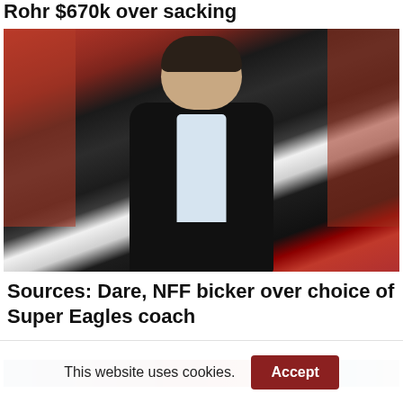Rohr $670k over sacking
[Figure (photo): A man in a dark suit with a light blue shirt standing in a stadium with a crowd wearing red in the background.]
Sources: Dare, NFF bicker over choice of Super Eagles coach
[Figure (photo): Partial view of a second article image, mostly cropped.]
This website uses cookies.
Accept